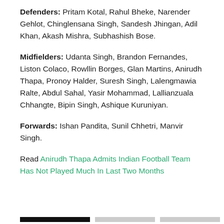Defenders: Pritam Kotal, Rahul Bheke, Narender Gehlot, Chinglensana Singh, Sandesh Jhingan, Adil Khan, Akash Mishra, Subhashish Bose.
Midfielders: Udanta Singh, Brandon Fernandes, Liston Colaco, Rowllin Borges, Glan Martins, Anirudh Thapa, Pronoy Halder, Suresh Singh, Lalengmawia Ralte, Abdul Sahal, Yasir Mohammad, Lallianzuala Chhangte, Bipin Singh, Ashique Kuruniyan.
Forwards: Ishan Pandita, Sunil Chhetri, Manvir Singh.
Read Anirudh Thapa Admits Indian Football Team Has Not Played Much In Last Two Months